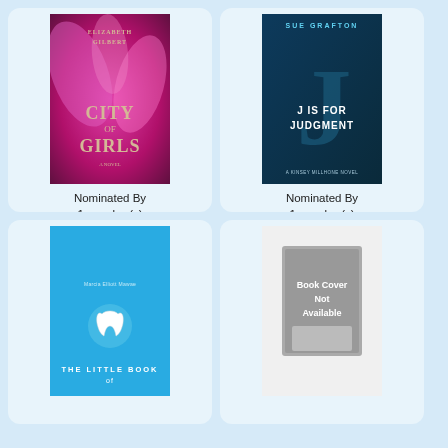[Figure (illustration): Book cover: Elizabeth Gilbert - City of Girls, colorful pink/magenta feathered background with gold text]
Nominated By
1 member(s)
with 11 vote(s)
NOMINATE
[Figure (illustration): Book cover: Sue Grafton - J is for Judgment, dark teal background with large letter J]
Nominated By
1 member(s)
with 11 vote(s)
NOMINATE
[Figure (illustration): Book cover: Marcia Elliott Mawae - The Little Book of, light blue cover with tooth icon]
[Figure (illustration): Placeholder: Book Cover Not Available, gray book silhouette]